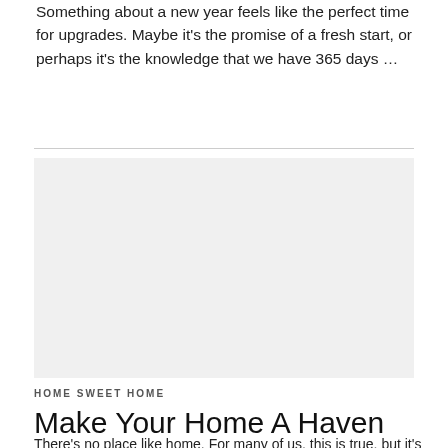Something about a new year feels like the perfect time for upgrades. Maybe it's the promise of a fresh start, or perhaps it's the knowledge that we have 365 days …
[Figure (photo): Large image placeholder area]
HOME SWEET HOME
Make Your Home A Haven
There's no place like home. For many of us, this is true, but it's not always easy to keep on top of the jobs that ensure our homes feel like …